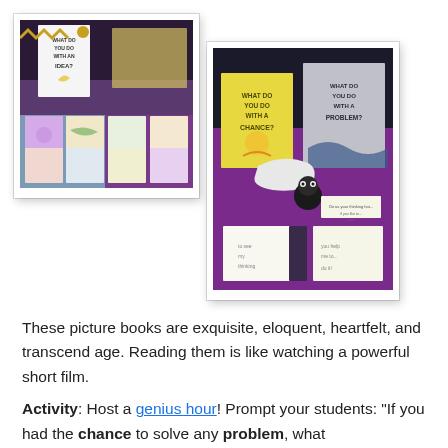[Figure (photo): Left photo: A display of picture book pages and illustrations spread out on a purple/blue surface, with a book titled 'What Do You Do With An Idea?' standing upright at the top.]
[Figure (photo): Right photo: Books titled 'What Do You Do With A Chance?' and 'What Do You Do With A Problem?' displayed on a purple surface along with a small figurine and handwritten cards.]
These picture books are exquisite, eloquent, heartfelt, and transcend age. Reading them is like watching a powerful short film.
Activity: Host a genius hour! Prompt your students: "If you had the chance to solve any problem, what